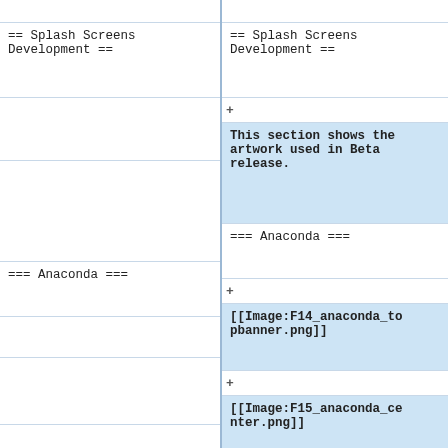== Splash Screens Development ==
== Splash Screens Development ==
This section shows the artwork used in Beta release.
=== Anaconda ===
=== Anaconda ===
[[Image:F14_anaconda_topbanner.png]]
[[Image:F15_anaconda_center.png]]